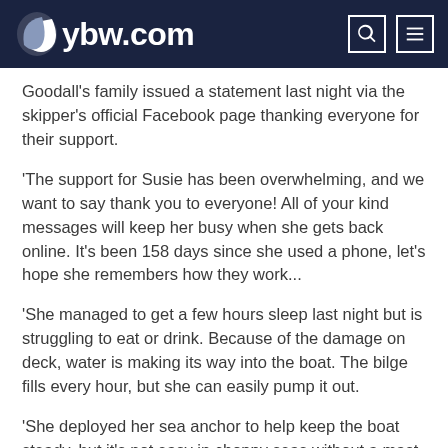ybw.com
Goodall's family issued a statement last night via the skipper's official Facebook page thanking everyone for their support.
'The support for Susie has been overwhelming, and we want to say thank you to everyone! All of your kind messages will keep her busy when she gets back online. It's been 158 days since she used a phone, let's hope she remembers how they work...
'She managed to get a few hours sleep last night but is struggling to eat or drink. Because of the damage on deck, water is making its way into the boat. The bilge fills every hour, but she can easily pump it out.
'She deployed her sea anchor to help keep the boat steady, but it's not easy in choppy seas without a mast. A cargo ship